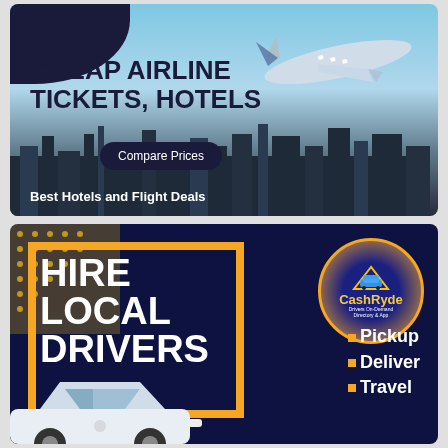[Figure (illustration): Top advertisement banner: blue sky background with city skyline silhouette, airplane flying, dark navy blob top-left, text 'CHEAP AIRLINE TICKETS, HOTELS', button 'Compare Prices', tagline 'Best Hotels and Flight Deals']
[Figure (illustration): Bottom advertisement banner: dark navy background with yellow dot pattern top-left, orange frame border, large white bold text 'HIRE LOCAL DRIVERS', CashRyde circular logo top-right, list items: Pickup, Deliver, Travel, white car bottom-left]